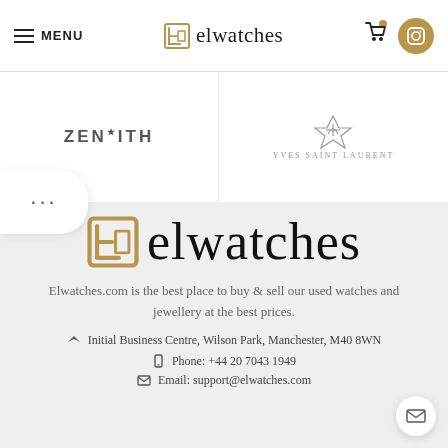MENU | elwatches | cart | instagram
[Figure (logo): Zenith brand logo]
[Figure (logo): Yves Saint Laurent logo]
[Figure (logo): elwatches large logo with golden square icon]
Elwatches.com is the best place to buy & sell our used watches and jewellery at the best prices.
Initial Business Centre, Wilson Park, Manchester, M40 8WN
Phone: +44 20 7043 1949
Email: support@elwatches.com